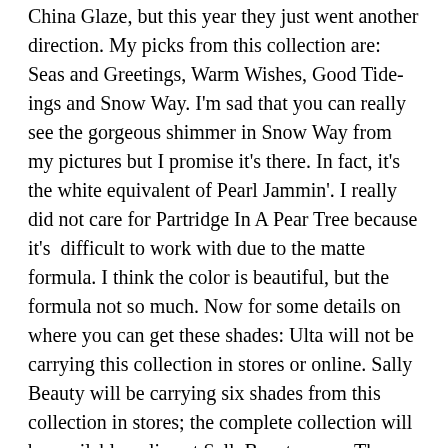China Glaze, but this year they just went another direction. My picks from this collection are: Seas and Greetings, Warm Wishes, Good Tide-ings and Snow Way. I'm sad that you can really see the gorgeous shimmer in Snow Way from my pictures but I promise it's there. In fact, it's the white equivalent of Pearl Jammin'. I really did not care for Partridge In A Pear Tree because it's  difficult to work with due to the matte formula. I think the color is beautiful, but the formula not so much. Now for some details on where you can get these shades: Ulta will not be carrying this collection in stores or online. Sally Beauty will be carrying six shades from this collection in stores; the complete collection will be available online at SallyBeauty.com.  These will be sold in stores:
'Tis the Sea-Sun
The More, The Berrier
Seas and Greetings